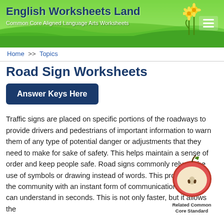English Worksheets Land
Common Core Aligned Language Arts Worksheets
Home >> Topics
Road Sign Worksheets
Answer Keys Here
[Figure (illustration): Apple cut in half illustration with 'Related Common Core Standard' label below]
Traffic signs are placed on specific portions of the roadways to provide drivers and pedestrians of important information to warn them of any type of potential danger or adjustments that they need to make for sake of safety. This helps maintain a sense of order and keep people safe. Road signs commonly rely on the use of symbols or drawing instead of words. This provides both the community with an instant form of communication that they can understand in seconds. This is not only faster, but it allows the